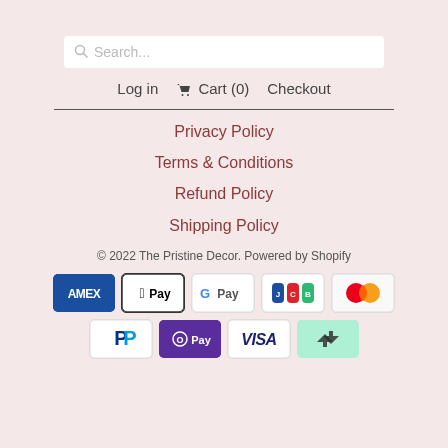Search...
Log in  Cart (0)  Checkout
Privacy Policy
Terms & Conditions
Refund Policy
Shipping Policy
© 2022 The Pristine Decor. Powered by Shopify
[Figure (other): Payment method logos: American Express (AMEX), Apple Pay, Google Pay, JCB, Mastercard, PayPal, Shop Pay (O Pay), Visa, Afterpay]